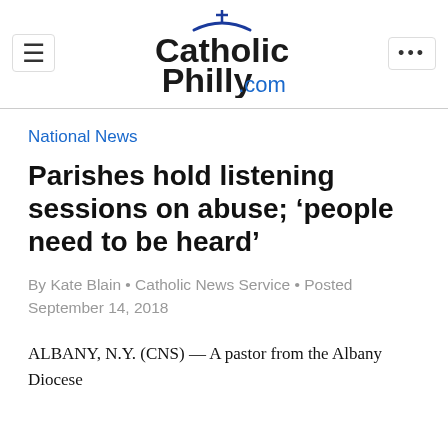CatholicPhilly.com
National News
Parishes hold listening sessions on abuse; ‘people need to be heard’
By Kate Blain • Catholic News Service • Posted September 14, 2018
ALBANY, N.Y. (CNS) — A pastor from the Albany Diocese